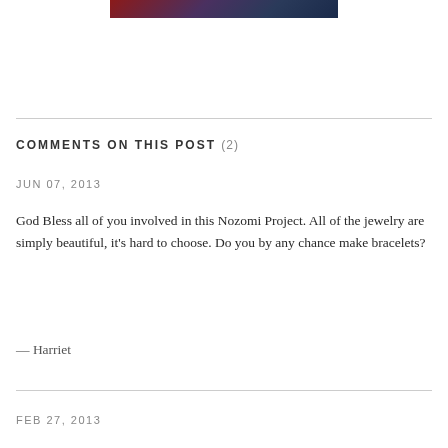[Figure (photo): Partial photo strip at top of page showing people, cropped]
COMMENTS ON THIS POST (2)
JUN 07, 2013
God Bless all of you involved in this Nozomi Project. All of the jewelry are simply beautiful, it’s hard to choose. Do you by any chance make bracelets?
— Harriet
FEB 27, 2013